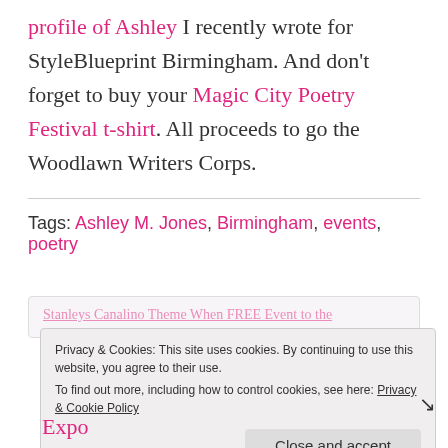profile of Ashley I recently wrote for StyleBlueprint Birmingham. And don't forget to buy your Magic City Poetry Festival t-shirt. All proceeds to go the Woodlawn Writers Corps.
Tags: Ashley M. Jones, Birmingham, events, poetry
Privacy & Cookies: This site uses cookies. By continuing to use this website, you agree to their use.
To find out more, including how to control cookies, see here: Privacy & Cookie Policy
Expo